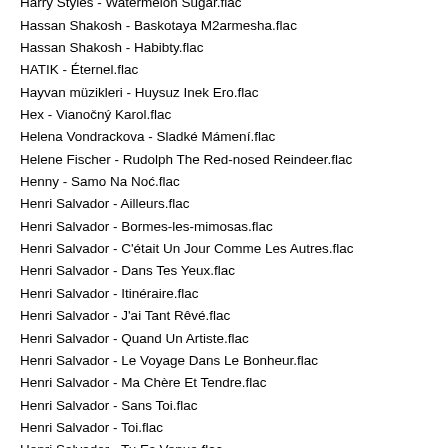Harry Styles - Watermelon Sugar.flac
Hassan Shakosh - Baskotaya M2armesha.flac
Hassan Shakosh - Habibty.flac
HATIK - Éternel.flac
Hayvan müzikleri - Huysuz Inek Ero.flac
Hex - Vianočný Karol.flac
Helena Vondrackova - Sladké Mámení.flac
Helene Fischer - Rudolph The Red-nosed Reindeer.flac
Henny - Samo Na Noć.flac
Henri Salvador - Ailleurs.flac
Henri Salvador - Bormes-les-mimosas.flac
Henri Salvador - C'était Un Jour Comme Les Autres.flac
Henri Salvador - Dans Tes Yeux.flac
Henri Salvador - Itinéraire.flac
Henri Salvador - J'ai Tant Rêvé.flac
Henri Salvador - Quand Un Artiste.flac
Henri Salvador - Le Voyage Dans Le Bonheur.flac
Henri Salvador - Ma Chère Et Tendre.flac
Henri Salvador - Sans Toi.flac
Henri Salvador - Toi.flac
Henri Salvador - Tu Es Venue.flac
Henri Salvador - Vous.flac
Henrique & Juliano - A Maior Saudade (Ao Vivo).flac
Henrique & Juliano - Acordo (Ao Vivo).flac
Henrique & Juliano - Arranhão (Ao Vivo).flac